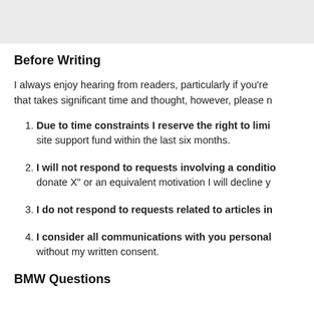[Figure (other): Gray header bar at top of page]
Before Writing
I always enjoy hearing from readers, particularly if you're that takes significant time and thought, however, please n
Due to time constraints I reserve the right to limi site support fund within the last six months.
I will not respond to requests involving a conditio donate X" or an equivalent motivation I will decline y
I do not respond to requests related to articles in
I consider all communications with you personal without my written consent.
BMW Questions